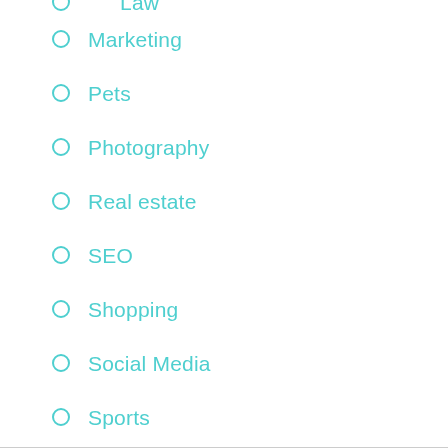Law
Marketing
Pets
Photography
Real estate
SEO
Shopping
Social Media
Sports
Tech
Technology